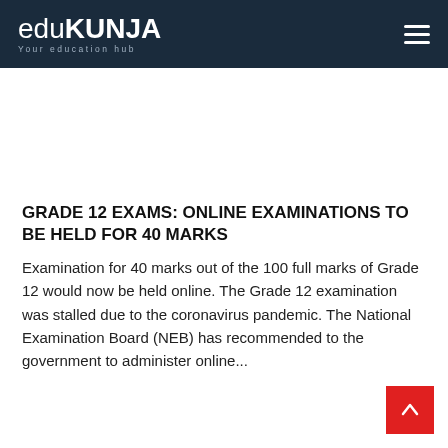eduKUNJA — Your education hub
GRADE 12 EXAMS: ONLINE EXAMINATIONS TO BE HELD FOR 40 MARKS
Examination for 40 marks out of the 100 full marks of Grade 12 would now be held online. The Grade 12 examination was stalled due to the coronavirus pandemic. The National Examination Board (NEB) has recommended to the government to administer online...